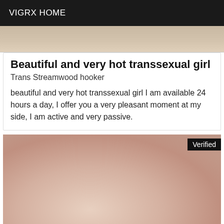VIGRX HOME
[Figure (photo): Partial photo visible at top of listing card]
Beautiful and very hot transsexual girl
Trans Streamwood hooker
beautiful and very hot transsexual girl I am available 24 hours a day, I offer you a very pleasant moment at my side, I am active and very passive.
[Figure (photo): Close-up photo with Verified badge in top right corner]